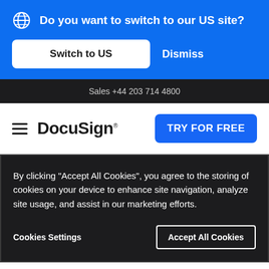Do you want to switch to our US site?
Switch to US
Dismiss
Sales +44 203 714 4800
[Figure (logo): DocuSign logo with hamburger menu icon]
TRY FOR FREE
By clicking “Accept All Cookies”, you agree to the storing of cookies on your device to enhance site navigation, analyze site usage, and assist in our marketing efforts.
Cookies Settings
Accept All Cookies